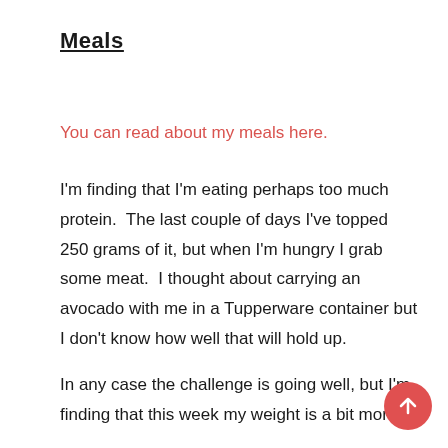Meals
You can read about my meals here.
I'm finding that I'm eating perhaps too much protein.  The last couple of days I've topped 250 grams of it, but when I'm hungry I grab some meat.  I thought about carrying an avocado with me in a Tupperware container but I don't know how well that will hold up.
In any case the challenge is going well, but I'm finding that this week my weight is a bit more in...